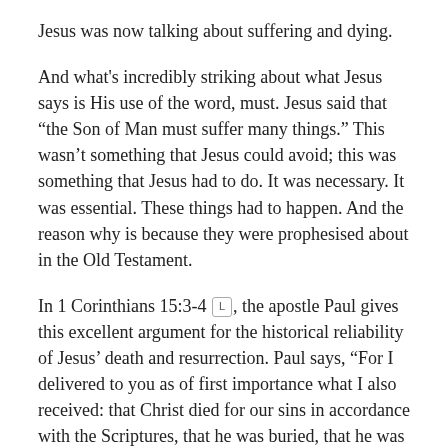Jesus was now talking about suffering and dying.
And what's incredibly striking about what Jesus says is His use of the word, must. Jesus said that “the Son of Man must suffer many things.” This wasn’t something that Jesus could avoid; this was something that Jesus had to do. It was necessary. It was essential. These things had to happen. And the reason why is because they were prophesised about in the Old Testament.
In 1 Corinthians 15:3-4 [L], the apostle Paul gives this excellent argument for the historical reliability of Jesus’ death and resurrection. Paul says, “For I delivered to you as of first importance what I also received: that Christ died for our sins in accordance with the Scriptures, that he was buried, that he was raised on the third day in accordance with the Scriptures.”
What phrase sticks out in that passage? “In accordance…